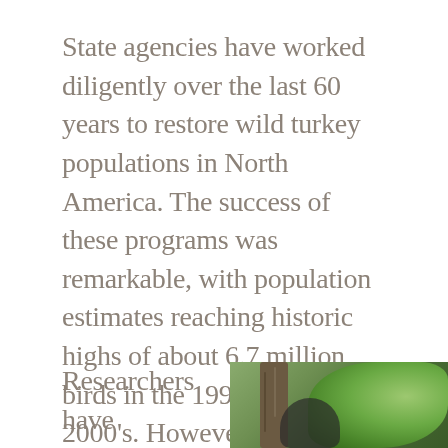State agencies have worked diligently over the last 60 years to restore wild turkey populations in North America. The success of these programs was remarkable, with population estimates reaching historic highs of about 6.7 million birds in the 1990's and early 2000's. However, the overall turkey population estimate across all of turkey range has dropped dramatically in recent years, causing concern among biologists and turkey enthusiasts alike.
Researchers have identified four factors as
[Figure (photo): Photo of a wild turkey near a tree trunk with green foliage in the background]